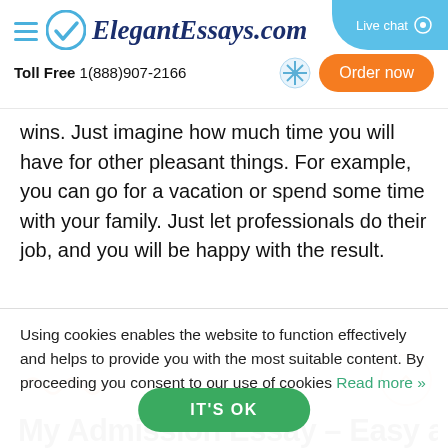ElegantEssays.com — Toll Free 1(888)907-2166
wins. Just imagine how much time you will have for other pleasant things. For example, you can go for a vacation or spend some time with your family. Just let professionals do their job, and you will be happy with the result.
Using cookies enables the website to function effectively and helps to provide you with the most suitable content. By proceeding you consent to our use of cookies Read more »
IT'S OK